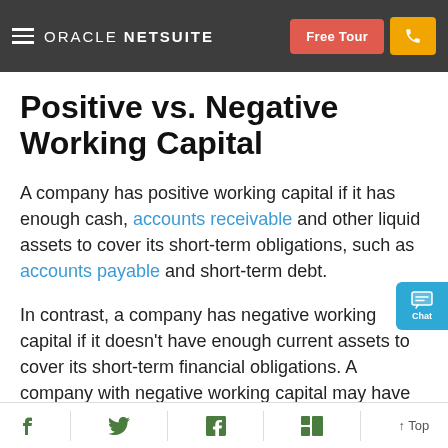ORACLE NETSUITE  Free Tour
Positive vs. Negative Working Capital
A company has positive working capital if it has enough cash, accounts receivable and other liquid assets to cover its short-term obligations, such as accounts payable and short-term debt.
In contrast, a company has negative working capital if it doesn't have enough current assets to cover its short-term financial obligations. A company with negative working capital may have trouble paying suppliers and creditors and difficulty raising funds to
f  Twitter  in  Flipboard  ↑ Top